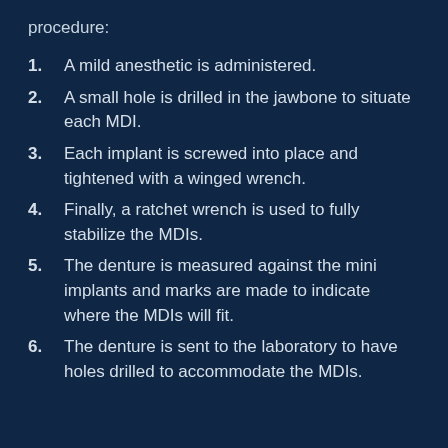procedure:
A mild anesthetic is administered.
A small hole is drilled in the jawbone to situate each MDI.
Each implant is screwed into place and tightened with a winged wrench.
Finally, a ratchet wrench is used to fully stabilize the MDIs.
The denture is measured against the mini implants and marks are made to indicate where the MDIs will fit.
The denture is sent to the laboratory to have holes drilled to accommodate the MDIs.